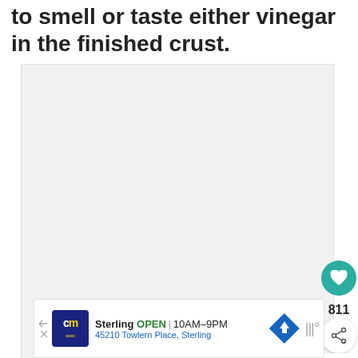to smell or taste either vinegar in the finished crust.
[Figure (photo): Large light gray image placeholder area]
811
[Figure (illustration): WHAT'S NEXT arrow panel showing Caramelized Onion Tart with circular food photo thumbnail]
[Figure (infographic): Advertisement banner: cm logo, Sterling OPEN 10AM-9PM, 45210 Towlern Place, Sterling, navigation icon, weather icon]